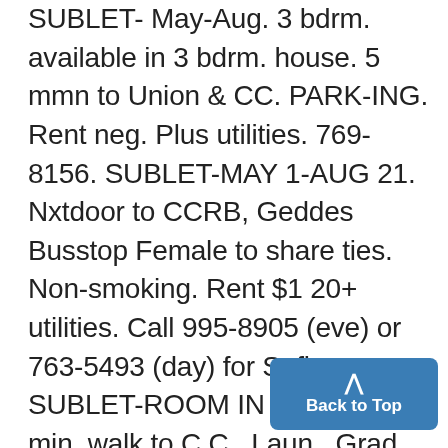SUBLET- May-Aug. 3 bdrm. available in 3 bdrm. house. 5 mmn to Union & CC. PARKING. Rent neg. Plus utilities. 769-8156. SUBLET-MAY 1-AUG 21. Nxtdoor to CCRB, Geddes Busstop Female to share ties. Non-smoking. Rent $1 20+ utilities. Call 995-8905 (eve) or 763-5493 (day) for Sofia. SUBLET-ROOM IN HOUSE, 10 min. walk to C.C., Laun., Grad. student pref. Avail 4/26. Matt, 662-7086. Rent neg. SUBLET-Sacious two sto_ a t, full kitchen, ful bath, A/C, near 7IMi~Sot complex across from bust. on H Kar1747-6098 or Chris 761-9791 SUMMER SUBLET- Aug 1- D b